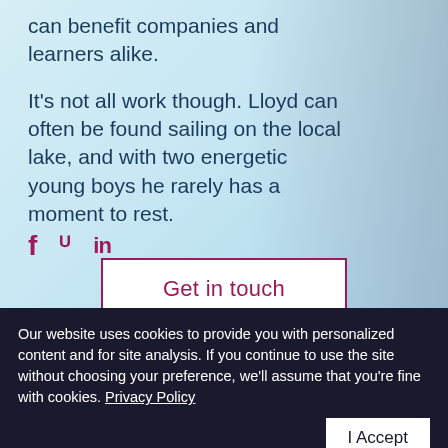can benefit companies and learners alike.
It's not all work though. Lloyd can often be found sailing on the local lake, and with two energetic young boys he rarely has a moment to rest.
[Figure (infographic): Social media icons: Facebook (f), Twitter (bird), LinkedIn (in) in dark pink/magenta color]
[Figure (other): Get in touch button with magenta border and text on white background]
Our website uses cookies to provide you with personalized content and for site analysis. If you continue to use the site without choosing your preference, we'll assume that you're fine with cookies. Privacy Policy
[Figure (other): I Accept button in white on dark background]